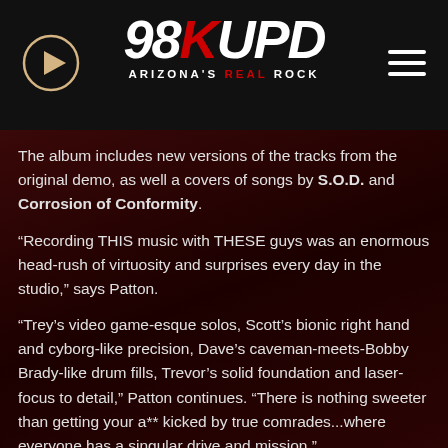98KUPD Arizona's Real Rock
The album includes new versions of the tracks from the original demo, as well a covers of songs by S.O.D. and Corrosion of Conformity.
“Recording THIS music with THESE guys was an enormous head-rush of virtuosity and surprises every day in the studio,” says Patton.
“Trey’s video game-esque solos, Scott’s bionic right hand and cyborg-like precision, Dave’s caveman-meets-Bobby Brady-like drum fills, Trevor’s solid foundation and laser-focus to detail,” Patton continues. “There is nothing sweeter than getting your a** kicked by true comrades...where everyone has a singular drive and mission.”
Mr. Bungle played their first shows together in nearly